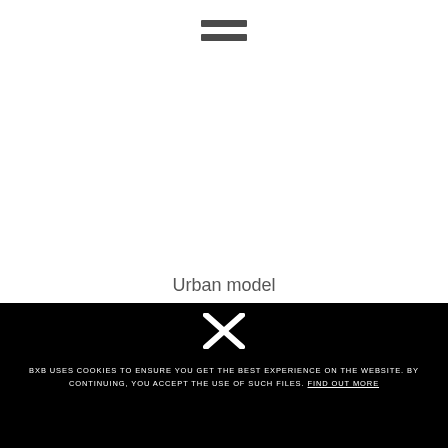[Figure (other): Hamburger menu icon consisting of two horizontal bars stacked vertically, dark gray color, centered at top of page]
Urban model
[Figure (logo): X close button icon in white on black background]
BXB USES COOKIES TO ENSURE YOU GET THE BEST EXPERIENCE ON THE WEBSITE. BY CONTINUING, YOU ACCEPT THE USE OF SUCH FILES. FIND OUT MORE